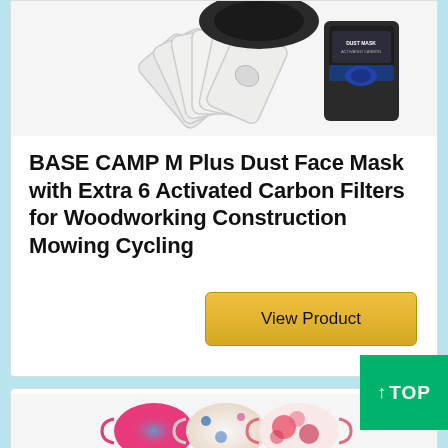[Figure (photo): Product photo showing activated carbon filter inserts (fan of white filter pads) and a black dust mask packaging bag labeled DUST MASK]
BASE CAMP M Plus Dust Face Mask with Extra 6 Activated Carbon Filters for Woodworking Construction Mowing Cycling
[Figure (other): Golden 'View Product' button]
[Figure (other): Green 'TOP' navigation button with upward arrow]
[Figure (photo): Three colorful tie-dye patterned face masks displayed at the bottom of the page]